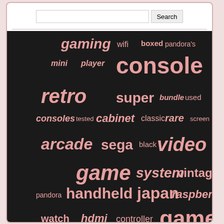[Figure (screenshot): Website screenshot showing a search bar at top and a tag cloud on dark background with gaming-related keywords in various sizes and pink/salmon color]
gaming wifi boxed pandora's mini player console retro super bundle used consoles tested cabinet classic rare screen arcade sega black video game system vintage pandora handheld japan raspberry watch hdmi controller games nintendo gameboy machine